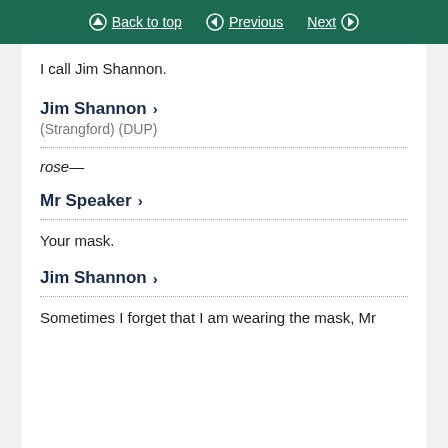Back to top  Previous  Next
I call Jim Shannon.
Jim Shannon > (Strangford) (DUP)
rose—
Mr Speaker >
Your mask.
Jim Shannon >
Sometimes I forget that I am wearing the mask, Mr